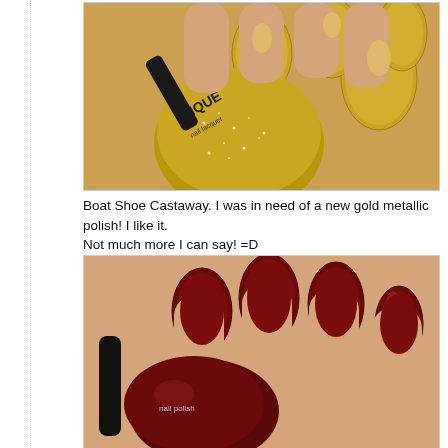[Figure (photo): Close-up photo of a hand holding a gold glitter nail polish bottle (Nique brand), with nails painted in gold metallic polish.]
Boat Shoe Castaway. I was in need of a new gold metallic polish! I like it. Not much more I can say! =D
[Figure (photo): Close-up photo of a hand holding a dark red/burgundy nail polish bottle, with nails painted in deep red/burgundy polish.]